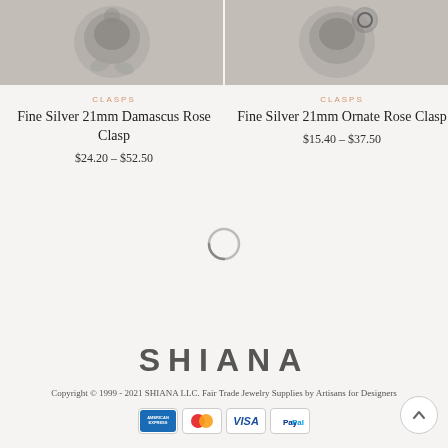[Figure (photo): Two silver rose clasp product photos side by side at top of page]
CLASPS
Fine Silver 21mm Damascus Rose Clasp
$24.20 – $52.50
CLASPS
Fine Silver 21mm Ornate Rose Clasp
$15.40 – $37.50
[Figure (illustration): Loading spinner circle icon]
[Figure (logo): SHIANA brand logo in bold gray letters]
Copyright © 1999 - 2021 SHIANA LLC. Fair Trade Jewelry Supplies by Artisans for Designers
[Figure (illustration): Payment icons: American Express, Mastercard, Visa, PayPal]